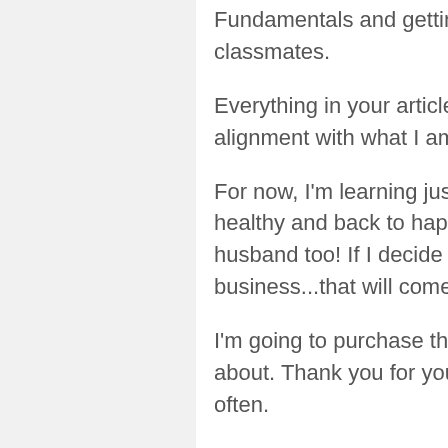Fundamentals and getting acquainted with my classmates.
Everything in your article sounds so in alignment with what I am learning.
For now, I'm learning just for me...to get myself healthy and back to happy...plus guide my husband too! If I decide to build a business...that will come later.
I'm going to purchase these books you share about. Thank you for your blog...it blessed me often.